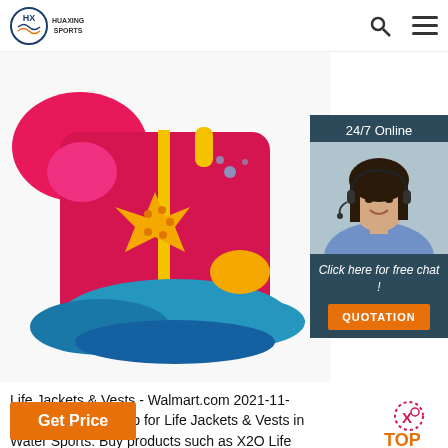HUAXING SPORTS
[Figure (photo): A children's life jacket / swim vest with colorful design featuring a starfish, waves, and yellow trim on a white background]
[Figure (photo): 24/7 Online chat widget with a female customer service agent wearing a headset, with a 'Click here for free chat!' message and QUOTATION button]
Life Jackets & Vests - Walmart.com 2021-11-13u2002·u2002Shop for Life Jackets & Vests in Water Sports. Buy products such as X2O Life Jacket, Adult, Youth, and Child Sizes Available at Walmart and save.
[Figure (logo): TOP badge with dotted circle]
Get Price